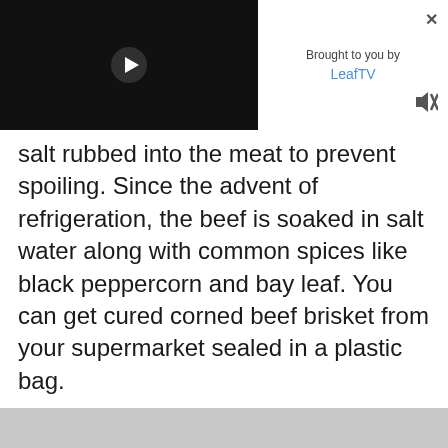[Figure (screenshot): Video player thumbnail with dark background and white play button triangle in center]
Brought to you by LeafTV
salt rubbed into the meat to prevent spoiling. Since the advent of refrigeration, the beef is soaked in salt water along with common spices like black peppercorn and bay leaf. You can get cured corned beef brisket from your supermarket sealed in a plastic bag.